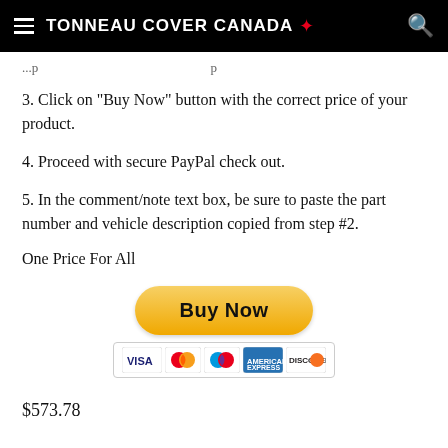TONNEAU COVER CANADA
3. Click on "Buy Now" button with the correct price of your product.
4. Proceed with secure PayPal check out.
5. In the comment/note text box, be sure to paste the part number and vehicle description copied from step #2.
One Price For All
[Figure (other): PayPal Buy Now button with credit card logos (Visa, Mastercard, Mastercard, American Express, Discover)]
$573.78